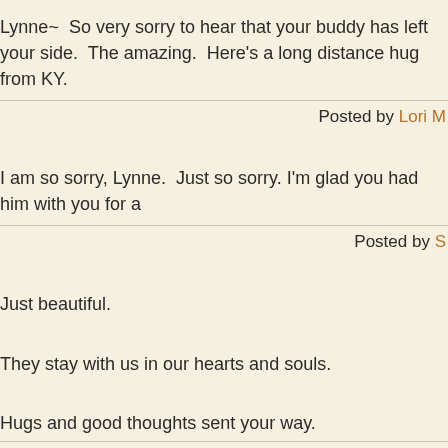Lynne~  So very sorry to hear that your buddy has left your side.  The amazing.  Here's a long distance hug from KY.
Posted by Lori M
I am so sorry, Lynne.  Just so sorry. I'm glad you had him with you for a
Posted by S
Just beautiful.

They stay with us in our hearts and souls.

Hugs and good thoughts sent your way.
Posted by
I'm so sorry, Lynne. Those furballs certainly have a way of stealing our